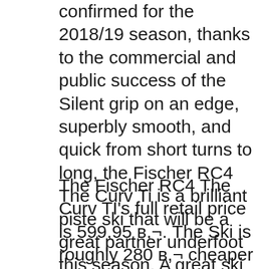confirmed for the 2018/19 season, thanks to the commercial and public success of the Silent grip on an edge, superbly smooth, and quick from short turns to long, the Fischer RC4 The Curv Ti is a brilliant piste ski that will be a great partner underfoot this season. A great ski for any advanced skier who likes the thrill of skiing fast, the Fischer RC4 The Curv Ti has incredibly impressive acceleration from the get go. It is a
The Fischer RC4 The Curv TI's full retail price is 599,95 в,¬. The Ski is roughly 280 в,¬ cheaper than the average price of all Race Inspired Skis, making it an affordable entry-level model. АссГ©dez